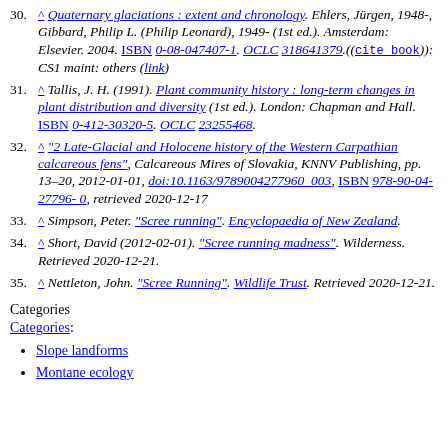30. ^ Quaternary glaciations : extent and chronology. Ehlers, Jürgen, 1948-, Gibbard, Philip L. (Philip Leonard), 1949- (1st ed.). Amsterdam: Elsevier. 2004. ISBN 0-08-047407-1. OCLC 318641379.((cite book)): CS1 maint: others (link)
31. ^ Tallis, J. H. (1991). Plant community history : long-term changes in plant distribution and diversity (1st ed.). London: Chapman and Hall. ISBN 0-412-30320-5. OCLC 23255468.
32. ^ "2 Late-Glacial and Holocene history of the Western Carpathian calcareous fens", Calcareous Mires of Slovakia, KNNV Publishing, pp. 13–20, 2012-01-01, doi:10.1163/9789004277960_003, ISBN 978-90-04-27796-0, retrieved 2020-12-17
33. ^ Simpson, Peter. "Scree running". Encyclopaedia of New Zealand.
34. ^ Short, David (2012-02-01). "Scree running madness". Wilderness. Retrieved 2020-12-21.
35. ^ Nettleton, John. "Scree Running". Wildlife Trust. Retrieved 2020-12-21.
Categories
Categories:
Slope landforms
Montane ecology